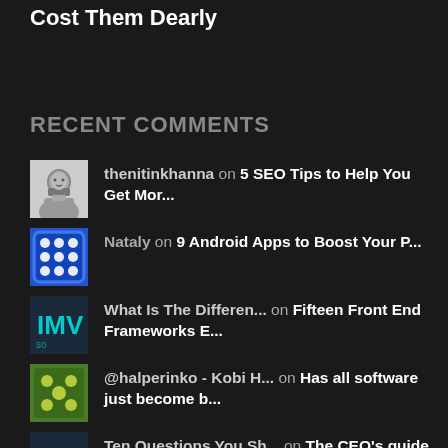Cost Them Dearly
RECENT COMMENTS
thenitinkhanna on 5 SEO Tips to Help You Get Mor...
Nataly on 9 Android Apps to Boost Your P...
What Is The Differen... on Fifteen Front End Frameworks E...
@halperinko - Kobi H... on Has all software just become b...
Ten Questions You Sh... on The CEO's guide to the Cloud